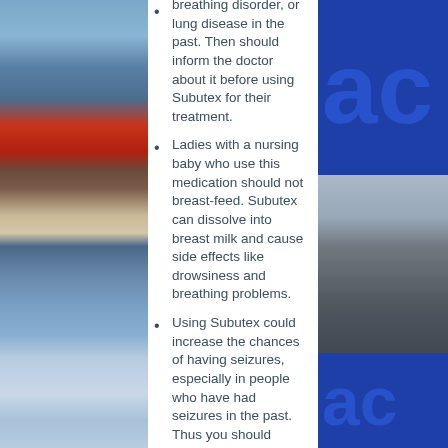breathing disorder, or lung disease in the past. Then should inform the doctor about it before using Subutex for their treatment.
Ladies with a nursing baby who use this medication should not breast-feed. Subutex can dissolve into breast milk and cause side effects like drowsiness and breathing problems.
Using Subutex could increase the chances of having seizures, especially in people who have had seizures in the past. Thus you should consult the doctor to know the chances of having seizures or convulsions during the treatment with Subutex.
Patients who have been using Subutex for a long time or in substantial doses might develop a tolerance for the drug. Thus these patients should inform the doctor if the medication stops working so that they could prescribe a higher dose rather than using it frequently to get the effect.
The patients who are 65 or older and use Subutex for their treatment...